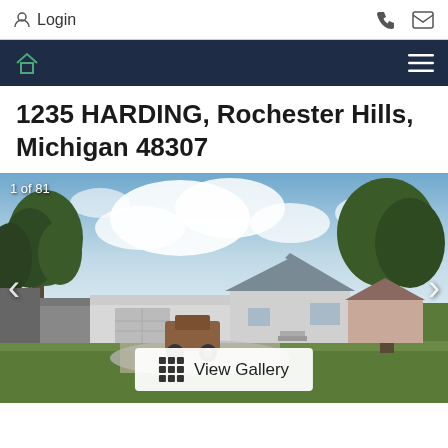Login
1235 HARDING, Rochester Hills, Michigan 48307
[Figure (photo): Exterior photo of a single-family home at 1235 Harding, Rochester Hills, Michigan. White house with attached garage, trees in background, green lawn in foreground, blue sky with clouds. Shows '1 of 81' photo indicator.]
1 of 81
View Gallery